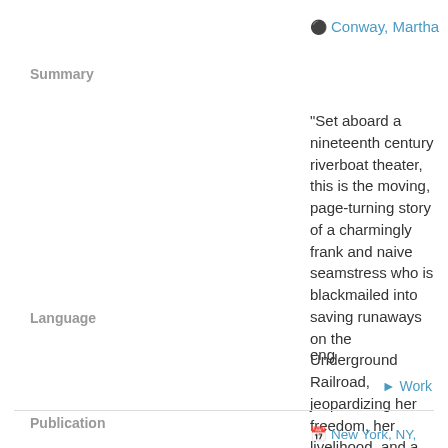Conway, Martha
Summary
"Set aboard a nineteenth century riverboat theater, this is the moving, page-turning story of a charmingly frank and naive seamstress who is blackmailed into saving runaways on the Underground Railroad, jeopardizing her freedom, her livelihood, and a new love"--
Language
eng
Work
Publication
New York, NY, Touchstone, an imprint of Simon & Schuster, Inc., 2017
Edition
First Touchstone hardcover edition.